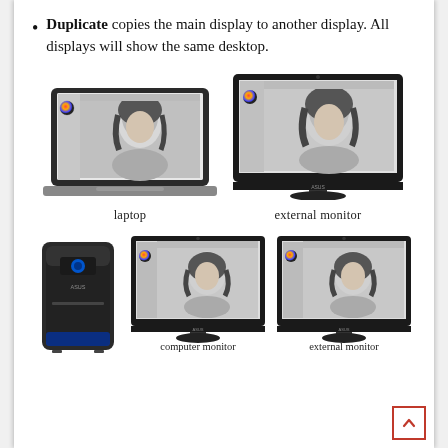Duplicate copies the main display to another display. All displays will show the same desktop.
[Figure (illustration): Top row: laptop computer and external monitor both showing the same image editing software (Photoshop-like) with a woman's portrait. Labels: 'laptop' and 'external monitor'.]
[Figure (illustration): Bottom row: desktop computer tower (ASUS), two external monitors both showing the same image editing software. Labels: 'computer monitor' and 'external monitor'.]